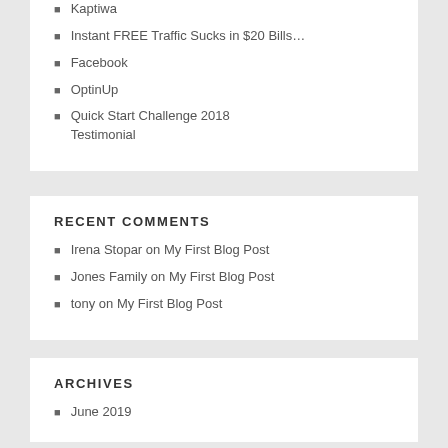Kaptiwa
Instant FREE Traffic Sucks in $20 Bills…
Facebook
OptinUp
Quick Start Challenge 2018 Testimonial
RECENT COMMENTS
Irena Stopar on My First Blog Post
Jones Family on My First Blog Post
tony on My First Blog Post
ARCHIVES
June 2019